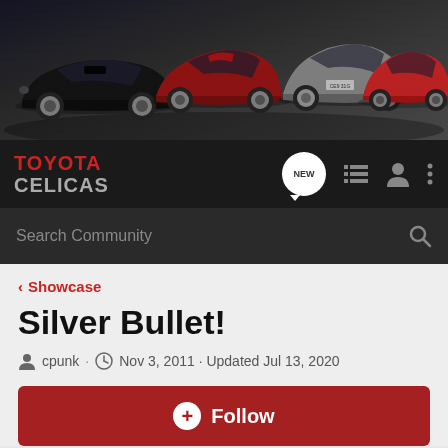[Figure (photo): Toyota Celicas banner image showing multiple generations of Toyota Celica sports cars (black, red, silver/gray, red) against a dark gray studio background]
TOYOTA CELICAS
Search Community
< Showcase
Silver Bullet!
cpunk · Nov 3, 2011 · Updated Jul 13, 2020
+ Follow